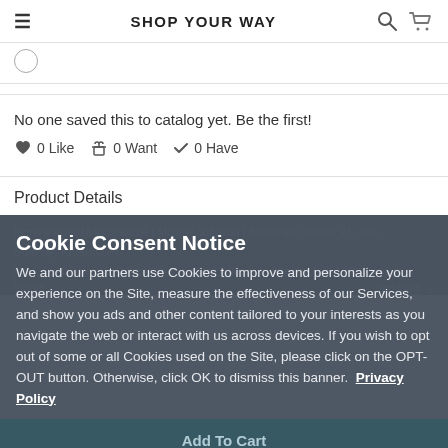SHOP YOUR WAY
No one saved this to catalog yet. Be the first!
0 Like   0 Want   0 Have
Product Details
Item# 038W01640850001R | Model# 3640850 | Added on October 21, 201...
Sold by: Kmart.com
Misc. Pyrithione zinc 2 thickens to restore fullness to thinning hair 100% have free Vemie ... See more
Cookie Consent Notice
We and our partners use Cookies to improve and personalize your experience on the Site, measure the effectiveness of our Services, and show you ads and other content tailored to your interests as you navigate the web or interact with us across devices. If you wish to opt out of some or all Cookies used on the Site, please click on the OPT-OUT button. Otherwise, click OK to dismiss this banner.  Privacy Policy
Add To Cart